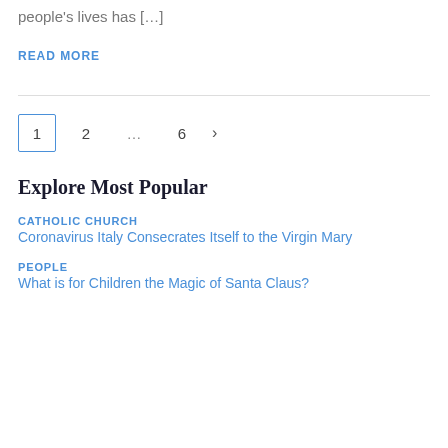people's lives has […]
READ MORE
1  2  …  6  >
Explore Most Popular
CATHOLIC CHURCH
Coronavirus Italy Consecrates Itself to the Virgin Mary
PEOPLE
What is for Children the Magic of Santa Claus?